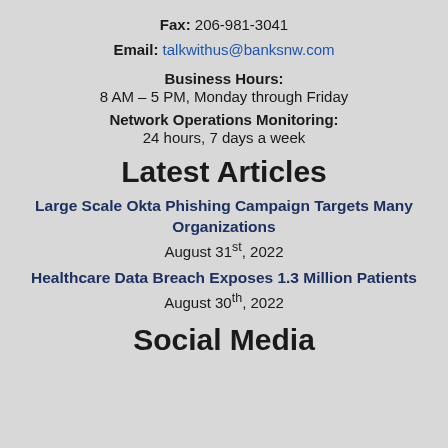Fax: 206-981-3041
Email: talkwithus@banksnw.com
Business Hours:
8 AM – 5 PM, Monday through Friday
Network Operations Monitoring:
24 hours, 7 days a week
Latest Articles
Large Scale Okta Phishing Campaign Targets Many Organizations
August 31st, 2022
Healthcare Data Breach Exposes 1.3 Million Patients
August 30th, 2022
Social Media